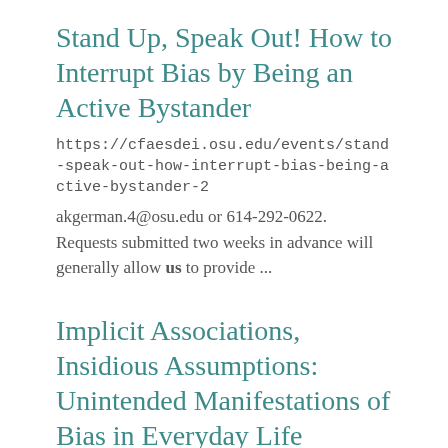Stand Up, Speak Out! How to Interrupt Bias by Being an Active Bystander
https://cfaesdei.osu.edu/events/stand-speak-out-how-interrupt-bias-being-active-bystander-2
akgerman.4@osu.edu or 614-292-0622. Requests submitted two weeks in advance will generally allow us to provide ...
Implicit Associations, Insidious Assumptions: Unintended Manifestations of Bias in Everyday Life